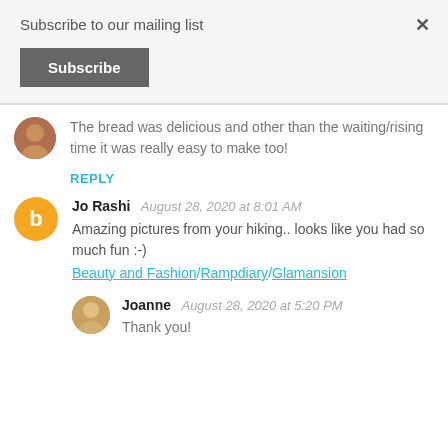Subscribe to our mailing list
× (close button)
Subscribe
The bread was delicious and other than the waiting/rising time it was really easy to make too!
REPLY
Jo Rashi   August 28, 2020 at 8:01 AM
Amazing pictures from your hiking.. looks like you had so much fun :-)
Beauty and Fashion/Rampdiary/Glamansion
Joanne   August 28, 2020 at 5:20 PM
Thank you!